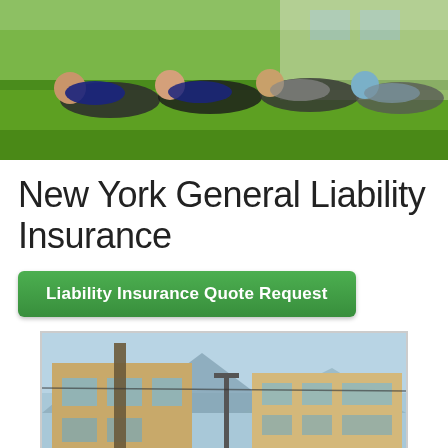[Figure (photo): Family of four lying on green grass outdoors, smiling at camera, in front of a house with green lawn.]
New York General Liability Insurance
Liability Insurance Quote Request
[Figure (photo): Construction site showing unfinished beige/tan buildings under construction with scaffolding, steel beams, and blue sky with mountains in background.]